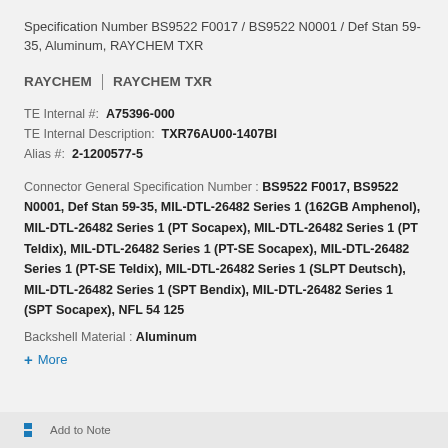Specification Number BS9522 F0017 / BS9522 N0001 / Def Stan 59-35, Aluminum, RAYCHEM TXR
RAYCHEM | RAYCHEM TXR
TE Internal #: A75396-000
TE Internal Description: TXR76AU00-1407BI
Alias #: 2-1200577-5
Connector General Specification Number: BS9522 F0017, BS9522 N0001, Def Stan 59-35, MIL-DTL-26482 Series 1 (162GB Amphenol), MIL-DTL-26482 Series 1 (PT Socapex), MIL-DTL-26482 Series 1 (PT Teldix), MIL-DTL-26482 Series 1 (PT-SE Socapex), MIL-DTL-26482 Series 1 (PT-SE Teldix), MIL-DTL-26482 Series 1 (SLPT Deutsch), MIL-DTL-26482 Series 1 (SPT Bendix), MIL-DTL-26482 Series 1 (SPT Socapex), NFL 54 125
Backshell Material: Aluminum
+ More